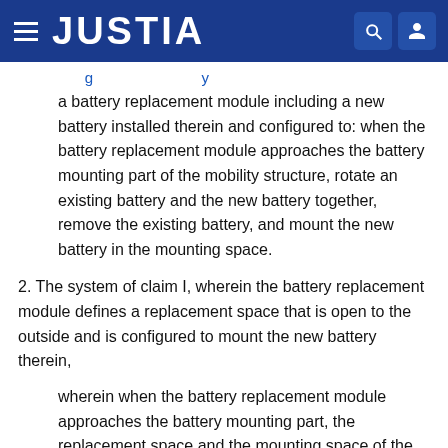JUSTIA
a battery replacement module including a new battery installed therein and configured to: when the battery replacement module approaches the battery mounting part of the mobility structure, rotate an existing battery and the new battery together, remove the existing battery, and mount the new battery in the mounting space.
2. The system of claim I, wherein the battery replacement module defines a replacement space that is open to the outside and is configured to mount the new battery therein,
wherein when the battery replacement module approaches the battery mounting part, the replacement space and the mounting space of the battery mounting part are aligned with each other,